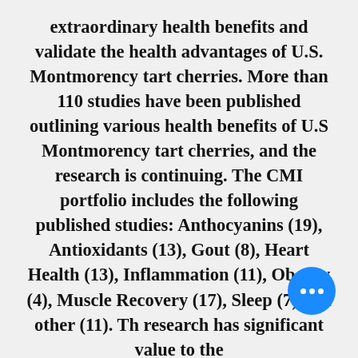extraordinary health benefits and validate the health advantages of U.S. Montmorency tart cherries. More than 110 studies have been published outlining various health benefits of U.S Montmorency tart cherries, and the research is continuing. The CMI portfolio includes the following published studies: Anthocyanins (19), Antioxidants (13), Gout (8), Heart Health (13), Inflammation (11), Obesity (4), Muscle Recovery (17), Sleep (7) and other (11). The research has significant value to the